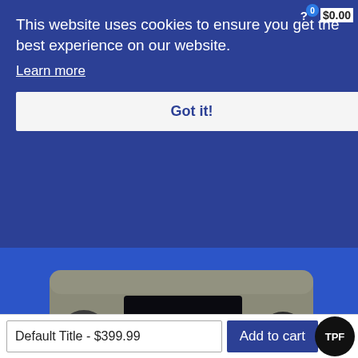This website uses cookies to ensure you get the best experience on our website.
Learn more
Got it!
[Figure (photo): Car radio/infotainment head unit with touchscreen display, control knobs on left and right, and navigation/media buttons. Unit appears to be used/dirty. Mounted against a blue background.]
Default Title - $399.99
Add to cart